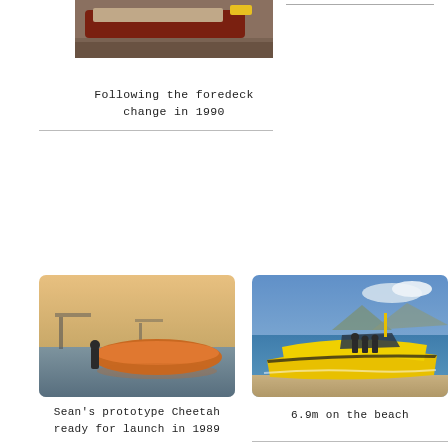[Figure (photo): Boat on a pebbly beach/shore, showing the foredeck area, photographed from the side. Red/brown hull visible, with yellow element.]
Following the foredeck change in 1990
[Figure (photo): Person standing in shallow water next to an orange prototype Cheetah boat at dusk or dawn, with pier structures visible in the background.]
Sean's prototype Cheetah ready for launch in 1989
[Figure (photo): A bright yellow motorboat on the water near a beach, with people on board, mountains in the background and blue sky.]
6.9m on the beach